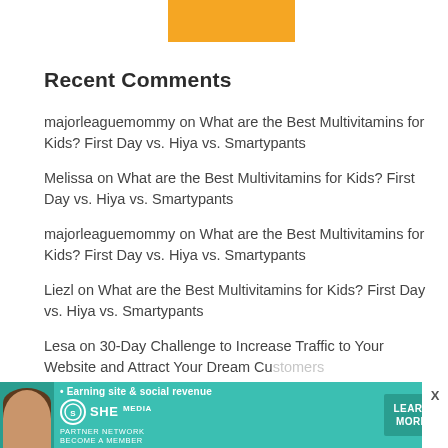[Figure (illustration): Orange/yellow rectangle partially visible at top center of page]
Recent Comments
majorleaguemommy on What are the Best Multivitamins for Kids? First Day vs. Hiya vs. Smartypants
Melissa on What are the Best Multivitamins for Kids? First Day vs. Hiya vs. Smartypants
majorleaguemommy on What are the Best Multivitamins for Kids? First Day vs. Hiya vs. Smartypants
Liezl on What are the Best Multivitamins for Kids? First Day vs. Hiya vs. Smartypants
Lesa on 30-Day Challenge to Increase Traffic to Your Website and Attract Your Dream Customers
[Figure (advertisement): SHE Partner Network banner ad with teal background, woman photo, bullet point text 'Earning site & social revenue', SHE logo, PARTNER NETWORK, BECOME A MEMBER, and LEARN MORE button]